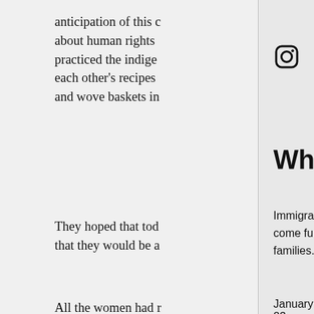anticipation of this c about human rights practiced the indige each other's recipes and wove baskets in
They hoped that tod that they would be a
All the women had r whom they hadn't se had missed marriag comfort the sick and grandchildren. They emptied of many of their families, the m
This morning the U.S granted visas to atte
[Figure (other): Social media icons: Instagram, Twitter, Facebook]
When We Meet Again
Immigration, separation and reunification come full circle for more than 30 Mexican families.
January 23, 2018
| FACEBOOK | TWITTER | EMAIL |
| --- | --- | --- |
Project Credits and Info
Visuals
Gareth Smit, Griselda San Martin, Luc Forsyth, Rache